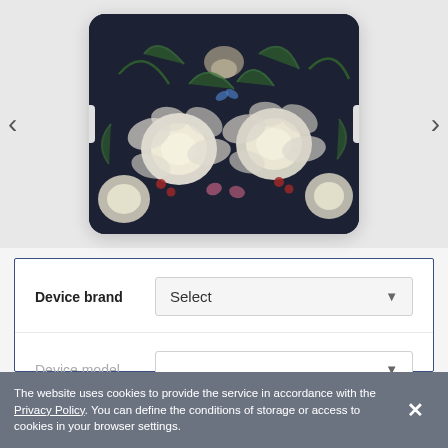[Figure (photo): A product image showing a device case with a dark floral pattern featuring white peonies and green leaves on a dark navy background. Navigation arrows on left and right sides.]
Device brand   Select ▾
Device model   (dropdown, disabled)
The website uses cookies to provide the service in accordance with the Privacy Policy. You can define the conditions of storage or access to cookies in your browser settings.